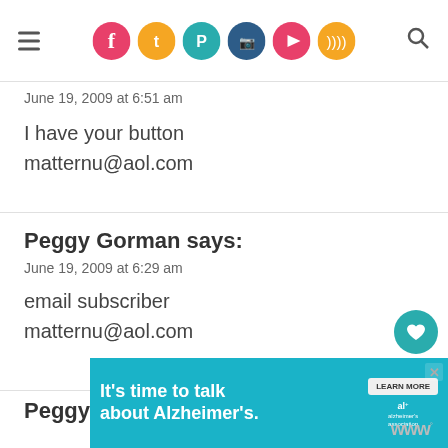[Social media navigation bar with hamburger menu, social icons (Facebook, Twitter, Pinterest, Instagram, YouTube, RSS), and search icon]
June 19, 2009 at 6:51 am
I have your button
matternu@aol.com
Peggy Gorman says:
June 19, 2009 at 6:29 am
email subscriber
matternu@aol.com
Peggy Gorman says:
June [obscured by ad]
[Figure (other): What's Next widget showing CHR Gives logo and text 'WHAT'S NEXT → Cheeky and Swank...']
[Figure (other): Alzheimer's Association advertisement: "It's time to talk about Alzheimer's." with LEARN MORE button and al+/alzheimer's association logo]